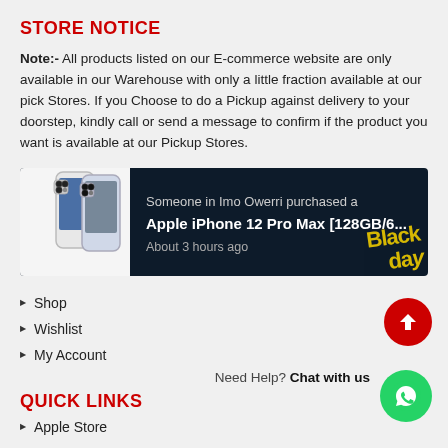STORE NOTICE
Note:- All products listed on our E-commerce website are only available in our Warehouse with only a little fraction available at our pick Stores. If you Choose to do a Pickup against delivery to your doorstep, kindly call or send a message to confirm if the product you want is available at our Pickup Stores.
[Figure (screenshot): Purchase notification popup showing Apple iPhone 12 Pro Max [128GB/6... purchased by someone in Imo Owerri about 3 hours ago, with Black Day branding]
Shop
Wishlist
My Account
Need Help? Chat with us
QUICK LINKS
Apple Store